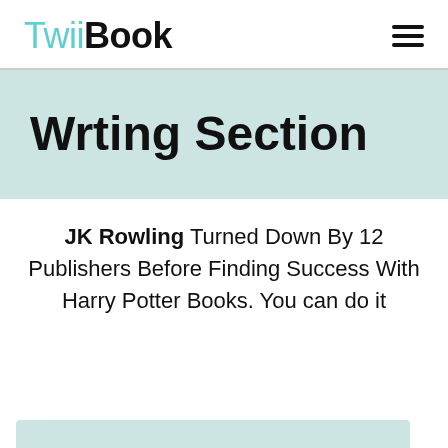TwiiBook
Wrting Section
JK Rowling Turned Down By 12 Publishers Before Finding Success With Harry Potter Books. You can do it